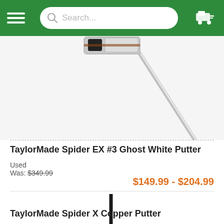Search...
[Figure (photo): Partial top view of TaylorMade Spider EX #3 Ghost White Putter showing the putter head and shaft from above]
TaylorMade Spider EX #3 Ghost White Putter
Used
Was: $349.99
$149.99 - $204.99
[Figure (photo): TaylorMade Spider X Copper Putter shown in full, with black shaft and copper-colored spider putter head]
TaylorMade Spider X Copper Putter